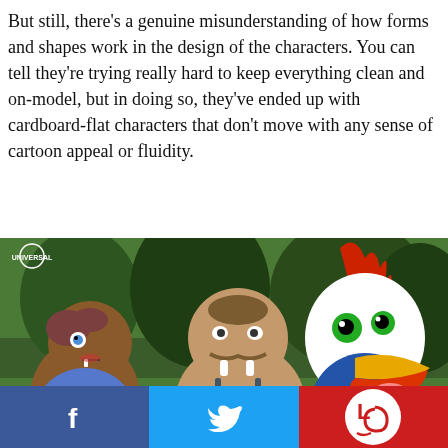But still, there's a genuine misunderstanding of how forms and shapes work in the design of the characters. You can tell they're trying really hard to keep everything clean and on-model, but in doing so, they've ended up with cardboard-flat characters that don't move with any sense of cartoon appeal or fluidity.
[Figure (illustration): Animation still showing cartoon characters including Woody Woodpecker (red bird with green eyes and yellow beak) and two other animated characters in a forest setting. Universal Pictures logo in top left. Blue diamond watermark bottom left.]